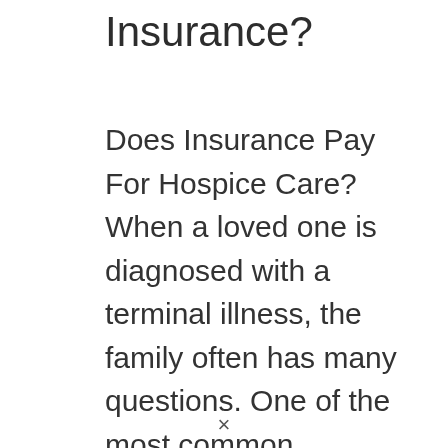Insurance?
Does Insurance Pay For Hospice Care? When a loved one is diagnosed with a terminal illness, the family often has many questions. One of the most common questions is whether or not hospice care is covered by insurance. In
×